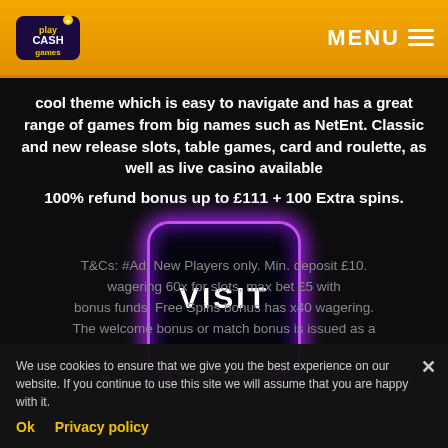Play Cash Games — MENU
cool theme which is easy to navigate and has a great range of games from big names such as NetEnt. Classic and new release slots, table games, card and roulette, as well as live casino available
100% refund bonus up to £111 + 100 Extra spins.
[Figure (other): A purple neon-bordered rounded square button with the word VISIT in white text, on a dark background.]
T&Cs: #Ad. New Players only. Min. deposit £10. wagering 60x for slots, max bet £5 with bonus funds. Free Spins bonus has x40 wagering. The welcome bonus or match bonus is issued as a
We use cookies to ensure that we give you the best experience on our website. If you continue to use this site we will assume that you are happy with it.
Ok   Privacy policy